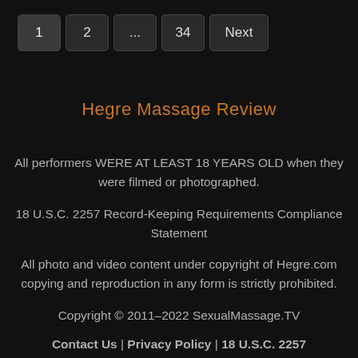1 | 2 | ... | 34 | Next
Hegre Massage Review
All performers WERE AT LEAST 18 YEARS OLD when they were filmed or photographed.
18 U.S.C. 2257 Record-Keeping Requirements Compliance Statement
All photo and video content under copyright of Hegre.com copying and reproduction in any form is strictly prohibited.
Copyright © 2011–2022 SexualMassage.TV
Contact Us | Privacy Policy | 18 U.S.C. 2257